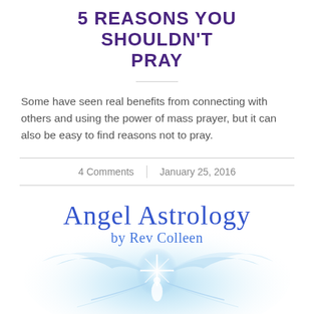5 REASONS YOU SHOULDN'T PRAY
Some have seen real benefits from connecting with others and using the power of mass prayer, but it can also be easy to find reasons not to pray.
4 Comments | January 25, 2016
[Figure (logo): Angel Astrology by Rev Colleen logo with cursive blue text and a glowing angel figure with wings on a light blue background]